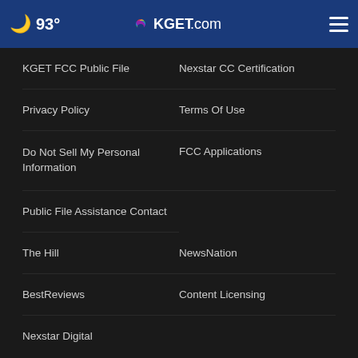🌙 93° KGET.com ☰
KGET FCC Public File
Nexstar CC Certification
Privacy Policy
Terms Of Use
Do Not Sell My Personal Information
FCC Applications
Public File Assistance Contact
The Hill
NewsNation
BestReviews
Content Licensing
Nexstar Digital